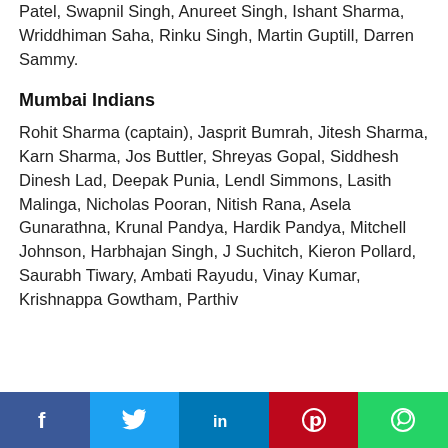Patel, Swapnil Singh, Anureet Singh, Ishant Sharma, Wriddhiman Saha, Rinku Singh, Martin Guptill, Darren Sammy.
Mumbai Indians
Rohit Sharma (captain), Jasprit Bumrah, Jitesh Sharma, Karn Sharma, Jos Buttler, Shreyas Gopal, Siddhesh Dinesh Lad, Deepak Punia, Lendl Simmons, Lasith Malinga, Nicholas Pooran, Nitish Rana, Asela Gunarathna, Krunal Pandya, Hardik Pandya, Mitchell Johnson, Harbhajan Singh, J Suchitch, Kieron Pollard, Saurabh Tiwary, Ambati Rayudu, Vinay Kumar, Krishnappa Gowtham, Parthiv